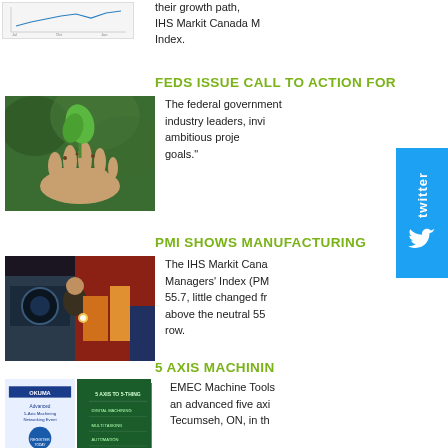[Figure (other): Partial chart/graph visible at top of page (cropped), IHS Markit Canada Manufacturing index chart]
their growth path. IHS Markit Canada M Index.
FEDS ISSUE CALL TO ACTION FOR
[Figure (photo): Hand holding a small green seedling plant against blurred green background]
The federal government industry leaders, invi ambitious proje goals."
[Figure (logo): Twitter social media badge/button, vertical orientation with Twitter bird logo]
PMI SHOWS MANUFACTURING
[Figure (photo): Factory worker operating industrial machinery, manufacturing environment with red and blue equipment]
The IHS Markit Cana Managers' Index (PM 55.7, little changed fr above the neutral 55 row.
5 AXIS MACHININ
[Figure (other): Two images side by side: left is OKUMA Advanced 5-Axis Machining Networking Event flyer (blue/white), right is a green brochure with white text lines]
EMEC Machine Tools an advanced five axi Tecumseh, ON, in th